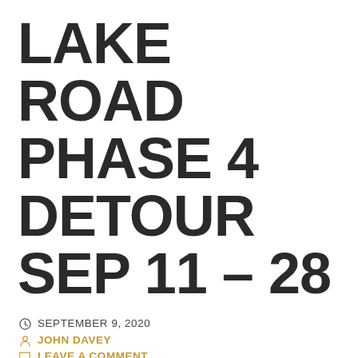LAKE ROAD PHASE 4 DETOUR SEP 11 – 28
SEPTEMBER 9, 2020
JOHN DAVEY
LEAVE A COMMENT
EL DORADO COUNTY ISSUES PHASE 4 COUNTRY CLUB DRIVE DETOUR PRESS RELEASE